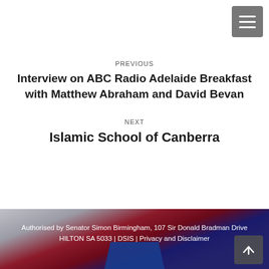PREVIOUS
Interview on ABC Radio Adelaide Breakfast with Matthew Abraham and David Bevan
NEXT
Islamic School of Canberra
[Figure (photo): Footer background image with red, white, and blue fabric/flag draped, with a blue shape at the bottom centre.]
Authorised by Senator Simon Birmingham, 107 Sir Donald Bradman Drive HILTON SA 5033 | DSIS | Privacy and Disclaimer